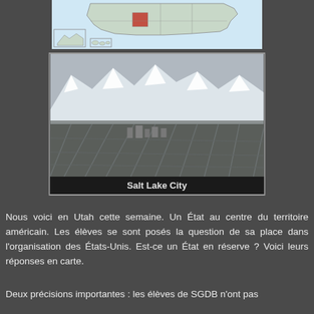[Figure (map): Map of the United States with Utah highlighted, including Alaska and Hawaii insets]
[Figure (photo): Aerial photograph of Salt Lake City with snow-capped mountains in the background]
Salt Lake City
Nous voici en Utah cette semaine. Un État au centre du territoire américain. Les élèves se sont posés la question de sa place dans l'organisation des États-Unis. Est-ce un État en réserve ? Voici leurs réponses en carte.
Deux précisions importantes : les élèves de SGDB n'ont pas